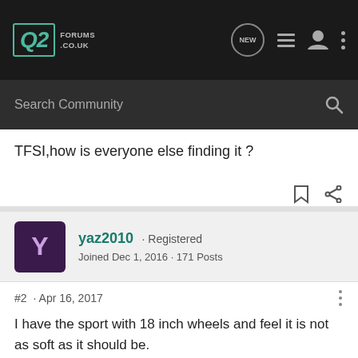Q2 Forums .co.uk — navigation bar with NEW, list, user, and more icons; Search Community search bar
TFSI,how is everyone else finding it ?
yaz2010 · Registered
Joined Dec 1, 2016 · 171 Posts
#2 · Apr 16, 2017
I have the sport with 18 inch wheels and feel it is not as soft as it should be.